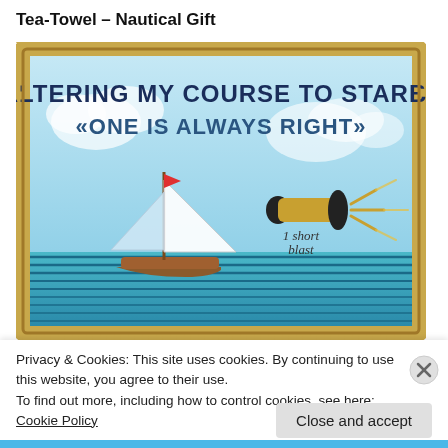Tea-Towel – Nautical Gift
[Figure (illustration): A nautical-themed tea towel product image with a rope border. Features a sailboat on blue waves and a brass foghorn/bugle with '1 short blast' text. Large text reads 'I AM ALTERING MY COURSE TO STARBOARD' and '«ONE IS ALWAYS RIGHT»' in bold dark blue letters on a light blue sky background.]
Privacy & Cookies: This site uses cookies. By continuing to use this website, you agree to their use.
To find out more, including how to control cookies, see here: Cookie Policy